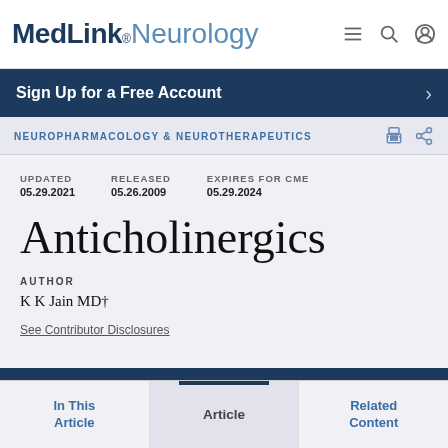MedLink® Neurology
Sign Up for a Free Account
NEUROPHARMACOLOGY & NEUROTHERAPEUTICS
UPDATED 05.29.2021  RELEASED 05.26.2009  EXPIRES FOR CME 05.29.2024
Anticholinergics
AUTHOR
K K Jain MD†
See Contributor Disclosures
In This Article  Article  Related Content